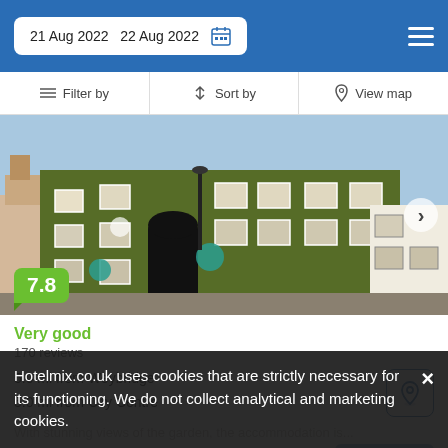21 Aug 2022  22 Aug 2022
Filter by  Sort by  View map
[Figure (photo): Exterior of an ivy-covered brick hotel building with white-framed windows and a dark arched entrance, photographed from the street on a sunny day.]
7.8
Very good
170 reviews
5.0 mi from Weybridge
5.0 mi from City Centre
With stunning views of the garden, the accommodation is...
Hotelmix.co.uk uses cookies that are strictly necessary for its functioning. We do not collect analytical and marketing cookies.
from  £ 107 /night
SELECT